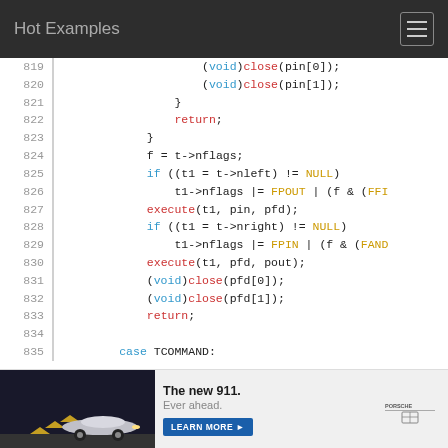Hot Examples
[Figure (screenshot): Syntax-highlighted source code viewer showing lines 819–835 of C source code. Line numbers in grey on left, code with colored keywords (blue for void/if/case/return, red for execute/close function calls, gold for NULL/FPOUT/FPIN macros) on white background.]
[Figure (photo): Advertisement banner: Porsche 911 car on road at left, text 'The new 911. Ever ahead.' with 'LEARN MORE' button, Porsche logo at right.]